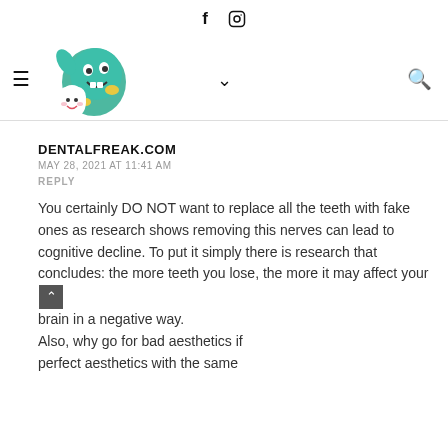f  [instagram icon]
[Figure (logo): Dental Freak cartoon logo with a smiling green monster and a tooth character]
DENTALFREAK.COM
MAY 28, 2021 AT 11:41 AM
REPLY
You certainly DO NOT want to replace all the teeth with fake ones as research shows removing this nerves can lead to cognitive decline. To put it simply there is research that concludes: the more teeth you lose, the more it may affect your brain in a negative way.
Also, why go for bad aesthetics if perfect aesthetics with the same